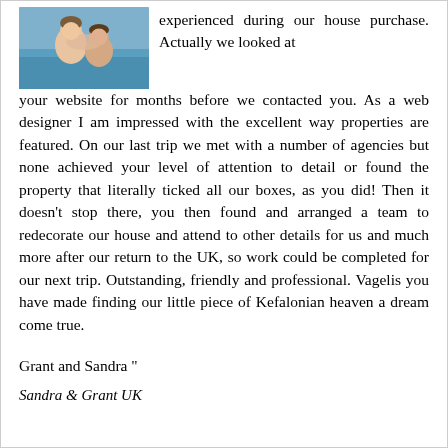[Figure (photo): Photo of two people (couple) in a swimming pool, smiling]
experienced during our house purchase. Actually we looked at your website for months before we contacted you. As a web designer I am impressed with the excellent way properties are featured. On our last trip we met with a number of agencies but none achieved your level of attention to detail or found the property that literally ticked all our boxes, as you did! Then it doesn't stop there, you then found and arranged a team to redecorate our house and attend to other details for us and much more after our return to the UK, so work could be completed for our next trip. Outstanding, friendly and professional. Vagelis you have made finding our little piece of Kefalonian heaven a dream come true.
Grant and Sandra "
Sandra & Grant UK